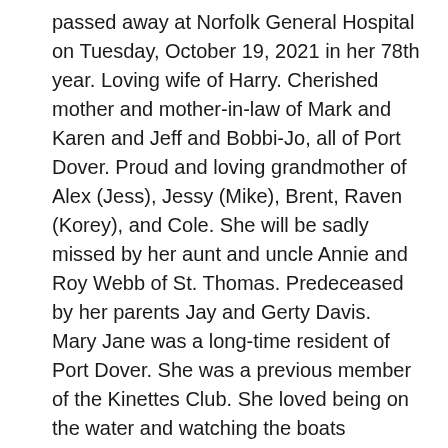passed away at Norfolk General Hospital on Tuesday, October 19, 2021 in her 78th year. Loving wife of Harry. Cherished mother and mother-in-law of Mark and Karen and Jeff and Bobbi-Jo, all of Port Dover. Proud and loving grandmother of Alex (Jess), Jessy (Mike), Brent, Raven (Korey), and Cole. She will be sadly missed by her aunt and uncle Annie and Roy Webb of St. Thomas. Predeceased by her parents Jay and Gerty Davis. Mary Jane was a long-time resident of Port Dover. She was a previous member of the Kinettes Club. She loved being on the water and watching the boats travelling along the crick. Mary Jane was a devoted wife and mother and then, of course, a dedicated grandmother. Her family was everything and she spent her life caring for them and loving them. She will be lovingly remembered by many. In keeping with Mary Jane's wishes, a private graveside service will be held at a later date.